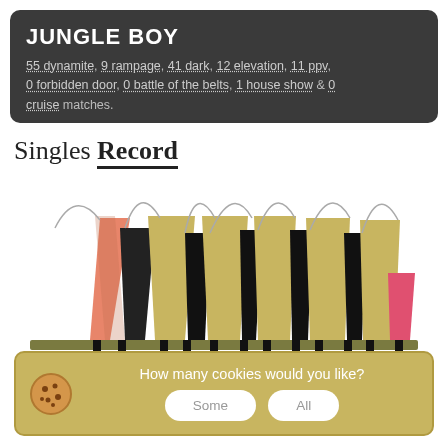JUNGLE BOY
55 dynamite, 9 rampage, 41 dark, 12 elevation, 11 ppv, 0 forbidden door, 0 battle of the belts, 1 house show & 0 cruise matches.
Singles Record
[Figure (infographic): Bar chart style infographic showing singles record with colored triangular/trapezoidal bars in tan/gold, black, salmon/orange, and pink colors representing wins and losses]
How many cookies would you like?
Some
All